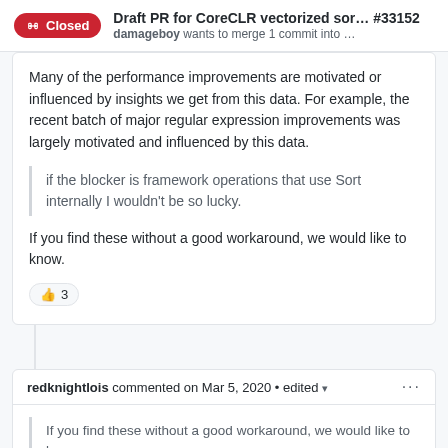Draft PR for CoreCLR vectorized sor... #33152 — damageboy wants to merge 1 commit into …
Many of the performance improvements are motivated or influenced by insights we get from this data. For example, the recent batch of major regular expression improvements was largely motivated and influenced by this data.
if the blocker is framework operations that use Sort internally I wouldn't be so lucky.
If you find these without a good workaround, we would like to know.
👍 3
redknightlois commented on Mar 5, 2020 • edited
If you find these without a good workaround, we would like to know.